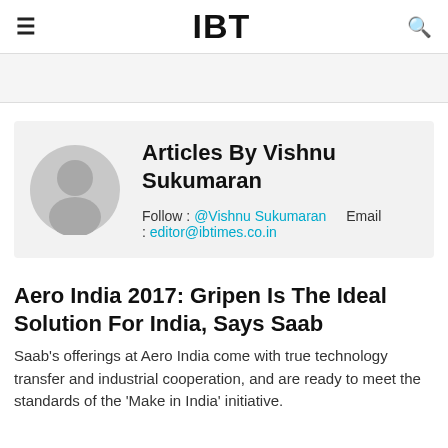IBT
[Figure (illustration): Author avatar placeholder — grey circle and shoulders silhouette]
Articles By Vishnu Sukumaran
Follow : @Vishnu Sukumaran   Email : editor@ibtimes.co.in
Aero India 2017: Gripen Is The Ideal Solution For India, Says Saab
Saab's offerings at Aero India come with true technology transfer and industrial cooperation, and are ready to meet the standards of the 'Make in India' initiative.